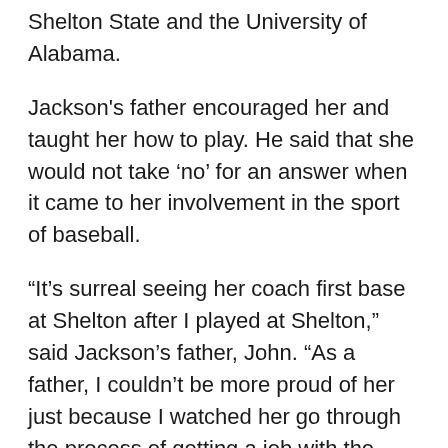Shelton State and the University of Alabama.
Jackson's father encouraged her and taught her how to play. He said that she would not take ‘no’ for an answer when it came to her involvement in the sport of baseball.
“It’s surreal seeing her coach first base at Shelton after I played at Shelton,” said Jackson’s father, John. “As a father, I couldn’t be more proud of her just because I watched her go through the process of getting a job with the Red Sox.”
John Jackson said that the gender barrier was something he had never thought about, and it has been hard for him to not push her in an opposing direction.